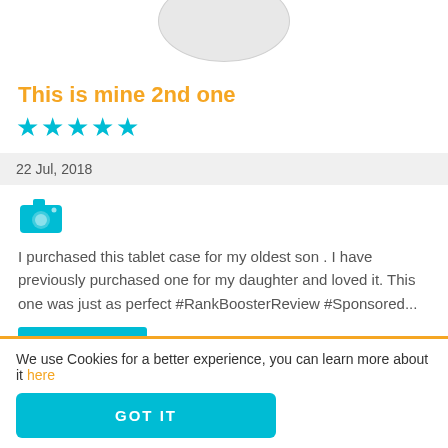[Figure (illustration): Partial circular avatar placeholder at top of page]
This is mine 2nd one
★★★★★ (5 cyan stars)
22 Jul, 2018
[Figure (illustration): Cyan camera icon]
I purchased this tablet case for my oldest son . I have previously purchased one for my daughter and loved it. This one was just as perfect #RankBoosterReview #Sponsored...
READ MORE »
[Figure (illustration): Partial circular avatar placeholder at bottom]
We use Cookies for a better experience, you can learn more about it here
GOT IT